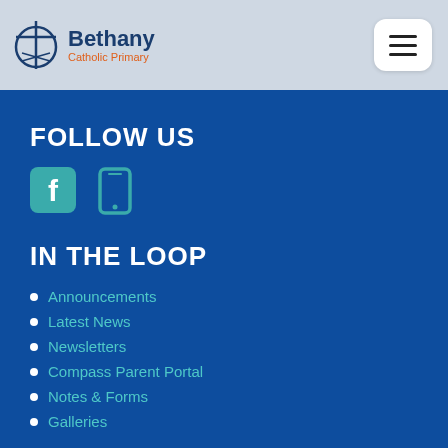[Figure (logo): Bethany Catholic Primary school logo with cross icon, blue bold text 'Bethany' and orange subtitle 'Catholic Primary']
[Figure (other): Hamburger menu button (three horizontal bars) in white rounded rectangle]
FOLLOW US
[Figure (other): Teal social media icons: Facebook icon and mobile phone icon]
IN THE LOOP
Announcements
Latest News
Newsletters
Compass Parent Portal
Notes & Forms
Galleries